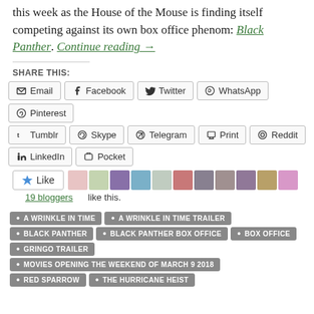this week as the House of the Mouse is finding itself competing against its own box office phenom: Black Panther. Continue reading →
SHARE THIS:
Email
Facebook
Twitter
WhatsApp
Pinterest
Tumblr
Skype
Telegram
Print
Reddit
LinkedIn
Pocket
19 bloggers like this.
A WRINKLE IN TIME
A WRINKLE IN TIME TRAILER
BLACK PANTHER
BLACK PANTHER BOX OFFICE
BOX OFFICE
GRINGO TRAILER
MOVIES OPENING THE WEEKEND OF MARCH 9 2018
RED SPARROW
THE HURRICANE HEIST